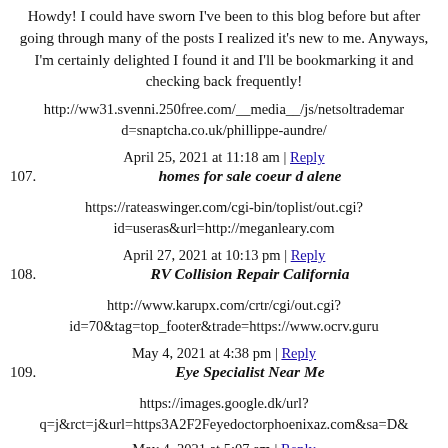Howdy! I could have sworn I've been to this blog before but after going through many of the posts I realized it's new to me. Anyways, I'm certainly delighted I found it and I'll be bookmarking it and checking back frequently!
http://ww31.svenni.250free.com/__media__/js/netsoltrademark d=snaptcha.co.uk/phillippe-aundre/
April 25, 2021 at 11:18 am | Reply
107. homes for sale coeur d alene
https://rateaswinger.com/cgi-bin/toplist/out.cgi?id=useras&url=http://meganleary.com
April 27, 2021 at 10:13 pm | Reply
108. RV Collision Repair California
http://www.karupx.com/crtr/cgi/out.cgi?id=70&tag=top_footer&trade=https://www.ocrv.guru
May 4, 2021 at 4:38 pm | Reply
109. Eye Specialist Near Me
https://images.google.dk/url?q=j&rct=j&url=https3A2F2Feyedoctorphoenixaz.com&sa=D&
May 4, 2021 at 5:07 am | Reply